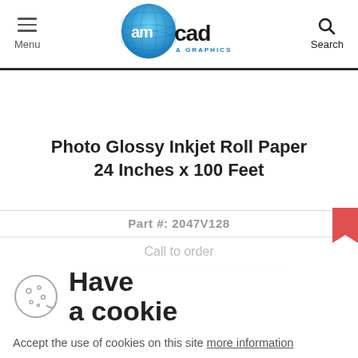[Figure (logo): amcad & GRAPHICS logo with blue globe and text]
Photo Glossy Inkjet Roll Paper 24 Inches x 100 Feet
Part #: 2047V128
Call to order
Free ground shipping on ink orders over $250
Have a cookie
Accept the use of cookies on this site more information
I Accept